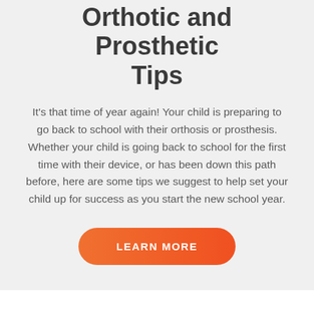Orthotic and Prosthetic Tips
It's that time of year again! Your child is preparing to go back to school with their orthosis or prosthesis. Whether your child is going back to school for the first time with their device, or has been down this path before, here are some tips we suggest to help set your child up for success as you start the new school year.
LEARN MORE
Latest Upd
Contact Us